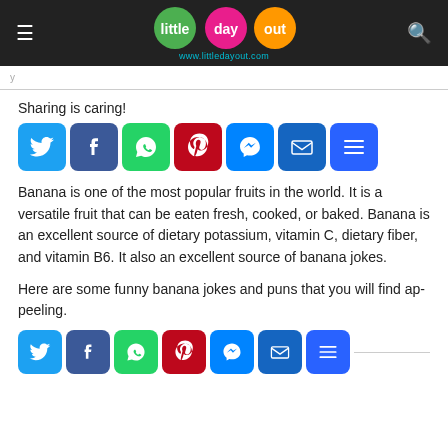little day out — www.littledayout.com
Sharing is caring!
[Figure (infographic): Social share buttons: Twitter, Facebook, WhatsApp, Pinterest, Messenger, Email, More]
Banana is one of the most popular fruits in the world. It is a versatile fruit that can be eaten fresh, cooked, or baked. Banana is an excellent source of dietary potassium, vitamin C, dietary fiber, and vitamin B6. It also an excellent source of banana jokes.
Here are some funny banana jokes and puns that you will find ap-peeling.
[Figure (infographic): Social share buttons (bottom): Twitter, Facebook, WhatsApp, Pinterest, Messenger, Email, More]